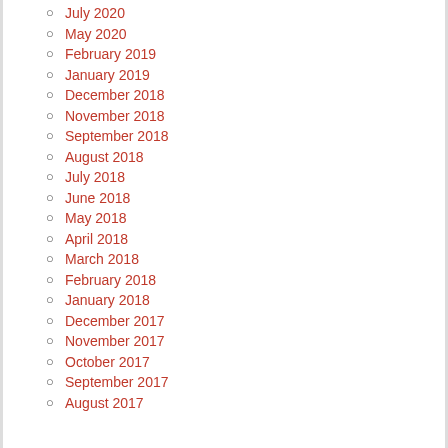July 2020
May 2020
February 2019
January 2019
December 2018
November 2018
September 2018
August 2018
July 2018
June 2018
May 2018
April 2018
March 2018
February 2018
January 2018
December 2017
November 2017
October 2017
September 2017
August 2017